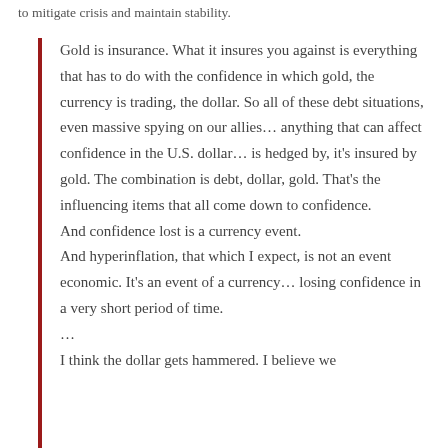to mitigate crisis and maintain stability.
Gold is insurance. What it insures you against is everything that has to do with the confidence in which gold, the currency is trading, the dollar. So all of these debt situations, even massive spying on our allies… anything that can affect confidence in the U.S. dollar… is hedged by, it's insured by gold. The combination is debt, dollar, gold. That's the influencing items that all come down to confidence.
And confidence lost is a currency event.
And hyperinflation, that which I expect, is not an event economic. It's an event of a currency… losing confidence in a very short period of time.
…
I think the dollar gets hammered. I believe we